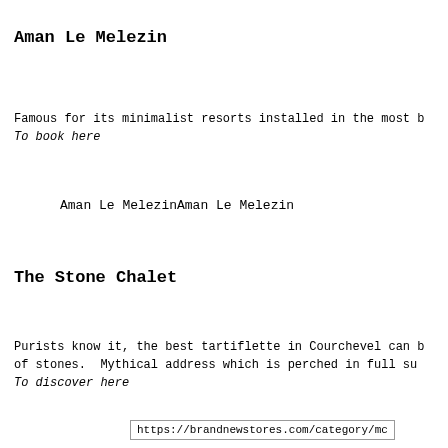Aman Le Melezin
Famous for its minimalist resorts installed in the most b
To book here
Aman Le MelezinAman Le Melezin
The Stone Chalet
Purists know it, the best tartiflette in Courchevel can b
of stones.  Mythical address which is perched in full su
To discover here
https://brandnewstores.com/category/mc